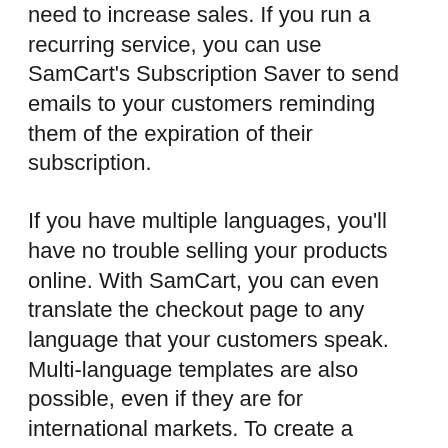need to increase sales. If you run a recurring service, you can use SamCart's Subscription Saver to send emails to your customers reminding them of the expiration of their subscription.
If you have multiple languages, you'll have no trouble selling your products online. With SamCart, you can even translate the checkout page to any language that your customers speak. Multi-language templates are also possible, even if they are for international markets. To create a multilingual shopping basket, you can choose between “World Wide” and “One-Page Funnel”. Simply scroll down the page to customize it, and then save it.